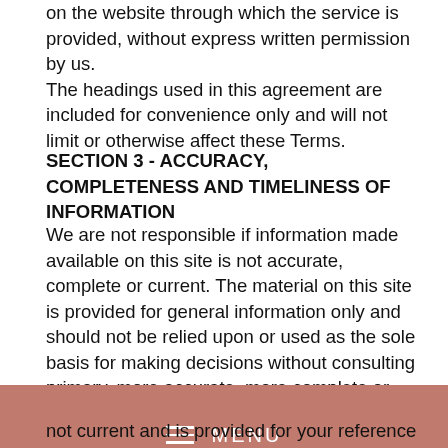on the website through which the service is provided, without express written permission by us.
The headings used in this agreement are included for convenience only and will not limit or otherwise affect these Terms.
SECTION 3 - ACCURACY, COMPLETENESS AND TIMELINESS OF INFORMATION
We are not responsible if information made available on this site is not accurate, complete or current. The material on this site is provided for general information only and should not be relied upon or used as the sole basis for making decisions without consulting primary, more accurate, more complete or more timely sources of information. Any reliance on the material on this
[Figure (other): Navigation menu bar with hamburger icon and MENU text on a dusty rose/terracotta background]
not current and is provided for your reference only.